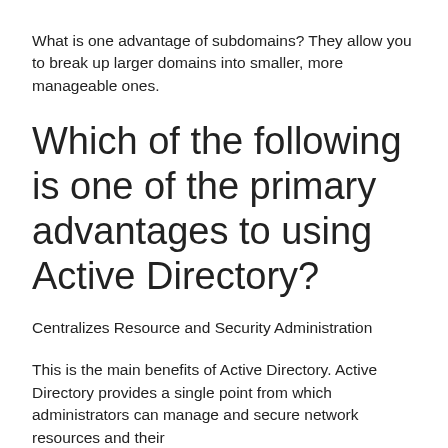What is one advantage of subdomains? They allow you to break up larger domains into smaller, more manageable ones.
Which of the following is one of the primary advantages to using Active Directory?
Centralizes Resource and Security Administration
This is the main benefits of Active Directory. Active Directory provides a single point from which administrators can manage and secure network resources and their